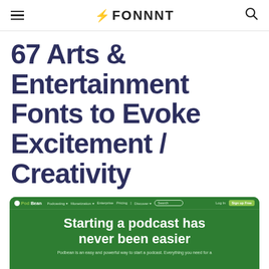FONNNT
67 Arts & Entertainment Fonts to Evoke Excitement / Creativity
[Figure (screenshot): Screenshot of Podbean website showing green background with white bold text: 'Starting a podcast has never been easier'. Navigation bar at top with Podbean logo, nav links, search bar, Login and Sign Up Free buttons.]